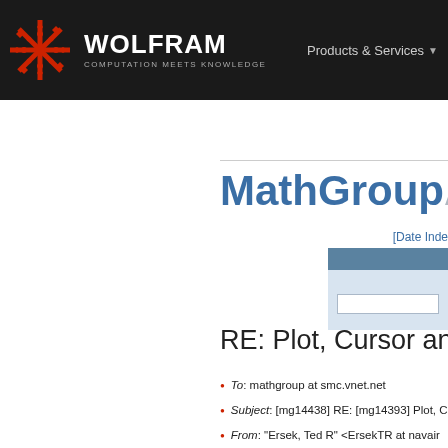WOLFRAM COMPUTATION MEETS KNOWLEDGE | Products & Services
[Figure (logo): Wolfram logo with red snowflake/asterisk icon and WOLFRAM COMPUTATION MEETS KNOWLEDGE text on dark background]
MathGroupArch
[Date Inde
RE: Plot, Cursor and
To: mathgroup at smc.vnet.net
Subject: [mg14438] RE: [mg14393] Plot, C
From: "Ersek, Ted R" <ErsekTR at navair n